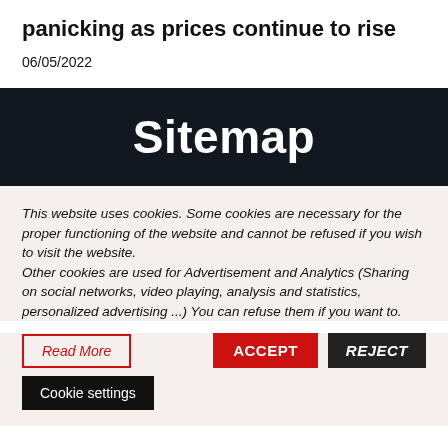panicking as prices continue to rise
06/05/2022
Sitemap
This website uses cookies. Some cookies are necessary for the proper functioning of the website and cannot be refused if you wish to visit the website.
Other cookies are used for Advertisement and Analytics (Sharing on social networks, video playing, analysis and statistics, personalized advertising ...) You can refuse them if you want to.
Read More   ACCEPT   REJECT   Cookie settings